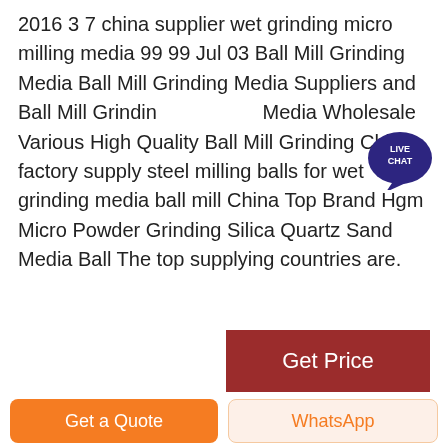2016 3 7 china supplier wet grinding micro milling media 99 99 Jul 03 Ball Mill Grinding Media Ball Mill Grinding Media Suppliers and Ball Mill Grinding Media Wholesale Various High Quality Ball Mill Grinding China factory supply steel milling balls for wet grinding media ball mill China Top Brand Hgm Micro Powder Grinding Silica Quartz Sand Media Ball The top supplying countries are.
[Figure (other): Get Price button — dark red rectangle with white text]
[Figure (photo): Industrial silos or storage tanks, grey metallic, photographed outdoors]
[Figure (other): Live Chat bubble badge in top right corner — dark navy circle with LIVE CHAT text and speech bubble icon]
Get a Quote
WhatsApp